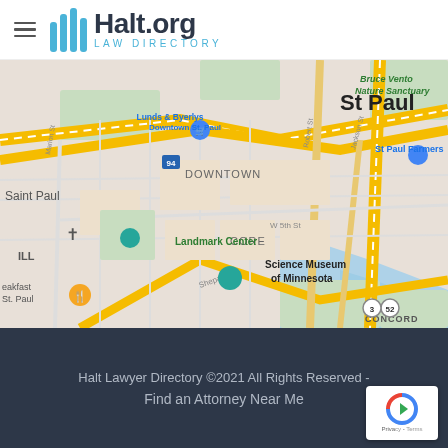Halt.org Law Directory
[Figure (map): Google Maps screenshot showing downtown St. Paul, Minnesota area with landmarks including Landmark Center, Science Museum of Minnesota, Lunds & Byerlys Downtown St. Paul, St Paul Farmers Market, and Bruce Vento Nature Sanctuary. Interstate 94 is visible along with streets Robert St, Jackson St, Shepard Rd, W 5th St, and Marion St. Areas labeled include DOWNTOWN, CORE, and CONCORD. River visible in lower right.]
Halt Lawyer Directory ©2021 All Rights Reserved - Find an Attorney Near Me